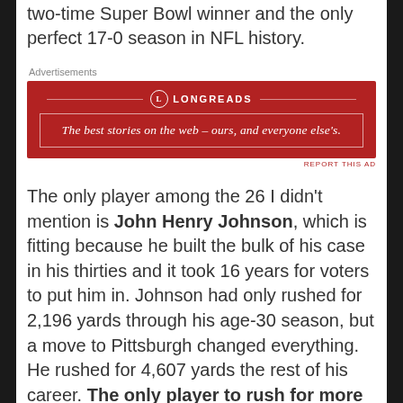two-time Super Bowl winner and the only perfect 17-0 season in NFL history.
[Figure (other): Advertisement banner for Longreads website. Red background with white border. Logo reads 'LONGREADS'. Tagline: 'The best stories on the web – ours, and everyone else's.']
REPORT THIS AD
The only player among the 26 I didn't mention is John Henry Johnson, which is fitting because he built the bulk of his case in his thirties and it took 16 years for voters to put him in. Johnson had only rushed for 2,196 yards through his age-30 season, but a move to Pittsburgh changed everything. He rushed for 4,607 yards the rest of his career. The only player to rush for more yards after age 31 than Johnson is…Frank Gore (5,322 yards and counting).
The last